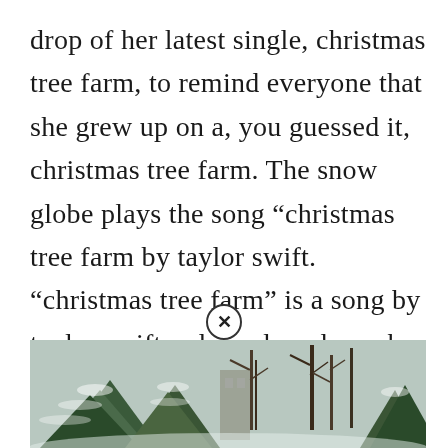drop of her latest single, christmas tree farm, to remind everyone that she grew up on a, you guessed it, christmas tree farm. The snow globe plays the song “christmas tree farm by taylor swift. “christmas tree farm” is a song by taylor swift, released on december 6, 2019. Christmas tree farm by taylor swift (2019) open chords or barred chords will work fine, so feel free to choose your own voicings.
[Figure (photo): A winter outdoor scene showing snow-covered evergreen/pine trees with bare trees in the background, with a close button overlay at the top center of the image.]